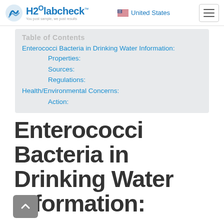H2O labcheck — United States
Table of Contents
Enterococci Bacteria in Drinking Water Information:
Properties:
Sources:
Regulations:
Health/Environmental Concerns:
Action:
Enterococci Bacteria in Drinking Water Information: